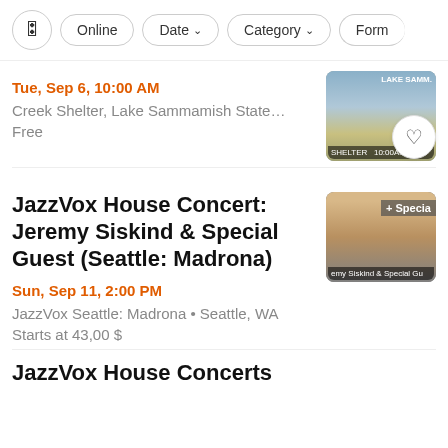Filter bar: settings icon, Online, Date ▾, Category ▾, Form…
Tue, Sep 6, 10:00 AM
Creek Shelter, Lake Sammamish State…
Free
JazzVox House Concert: Jeremy Siskind & Special Guest (Seattle: Madrona)
Sun, Sep 11, 2:00 PM
JazzVox Seattle: Madrona • Seattle, WA
Starts at 43,00 $
JazzVox House Concerts